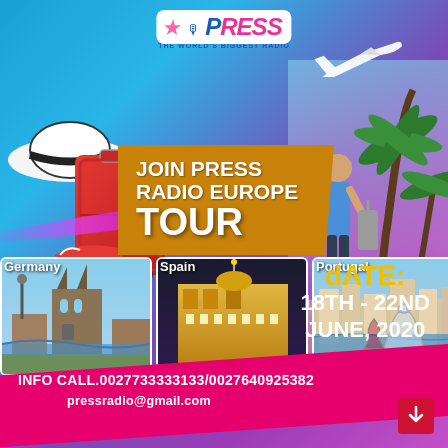[Figure (logo): The Press Radio logo with pink star, blue microphone, and pink/blue PRESS text on white background with tagline 'THE WORLD'S BIGGEST RADIO']
JOIN PRESS RADIO EUROPE TOUR
[Figure (photo): Germany cityscape with cathedral]
[Figure (photo): Spain Madrid Gran Via building at night]
[Figure (photo): Portugal coastal city view with wine glass]
dATE: 18TH - 22ND JUNE, 2020
INFO CALL.0027733333133/0027640925382
pressradio@gmail.com